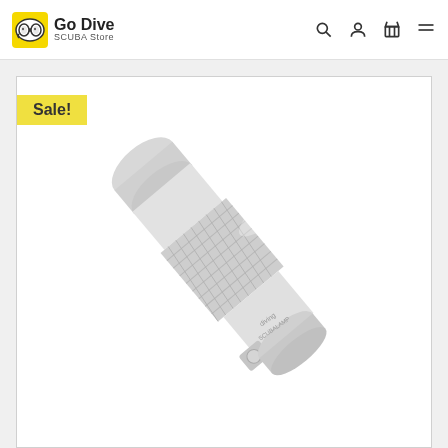Go Dive SCUBA Store
[Figure (photo): Close-up photo of a silver/aluminum dive flashlight or torch with a knurled grip section, showing the body and a button/switch near the bottom. The light is photographed at an angle against a white background. A yellow 'Sale!' badge is overlaid in the top-left corner.]